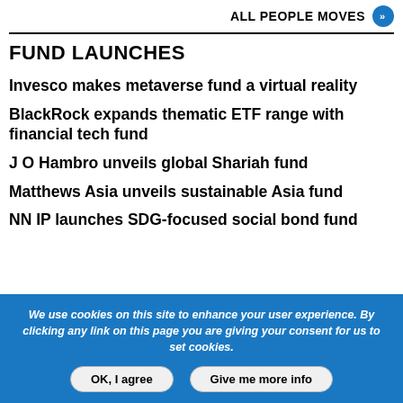ALL PEOPLE MOVES
FUND LAUNCHES
Invesco makes metaverse fund a virtual reality
BlackRock expands thematic ETF range with financial tech fund
J O Hambro unveils global Shariah fund
Matthews Asia unveils sustainable Asia fund
NN IP launches SDG-focused social bond fund
We use cookies on this site to enhance your user experience. By clicking any link on this page you are giving your consent for us to set cookies.
OK, I agree | Give me more info